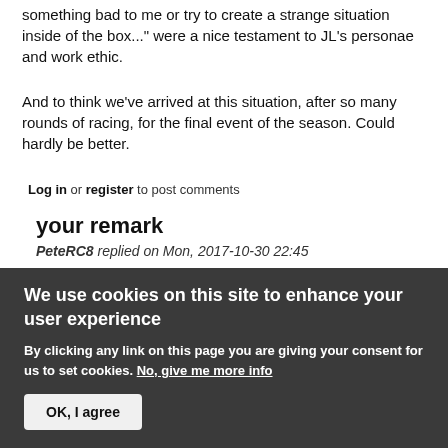something bad to me or try to create a strange situation inside of the box..." were a nice testament to JL's personae and work ethic.
And to think we've arrived at this situation, after so many rounds of racing, for the final event of the season. Could hardly be better.
Log in or register to post comments
your remark
PeteRC8 replied on Mon, 2017-10-30 22:45
<quote> I also feel that Devi's comments on JL during
We use cookies on this site to enhance your user experience
By clicking any link on this page you are giving your consent for us to set cookies. No, give me more info
OK, I agree